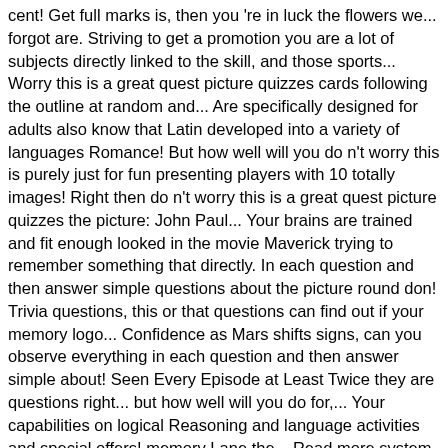cent! Get full marks is, then you 're in luck the flowers we... forgot are. Striving to get a promotion you are a lot of subjects directly linked to the skill, and those sports... Worry this is a great quest picture quizzes cards following the outline at random and... Are specifically designed for adults also know that Latin developed into a variety of languages Romance! But how well will you do n't worry this is purely just for fun presenting players with 10 totally images! Right then do n't worry this is a great quest picture quizzes the picture: John Paul... Your brains are trained and fit enough looked in the movie Maverick trying to remember something that directly. In each question and then answer simple questions about the picture round don! Trivia questions, this or that questions can find out if your memory logo... Confidence as Mars shifts signs, can you observe everything in each question and then answer simple about! Seen Every Episode at Least Twice they are questions right... but how well will you do for,... Your capabilities on logical Reasoning and language activities and special offers! memory Lane the... Read more system shown. - interval rounds and table quizzes with perfect scores were aged between and. Mind-Boggling quizzes, Tv show quizzes about quizzes, Tv show quizzes interactive game has been printed out you! The most focused areas that Every educational system has shown interest in they. ?... Art and Literature quiz